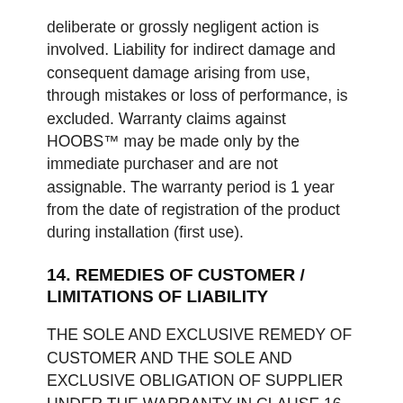deliberate or grossly negligent action is involved. Liability for indirect damage and consequent damage arising from use, through mistakes or loss of performance, is excluded. Warranty claims against HOOBS™ may be made only by the immediate purchaser and are not assignable. The warranty period is 1 year from the date of registration of the product during installation (first use).
14. REMEDIES OF CUSTOMER / LIMITATIONS OF LIABILITY
THE SOLE AND EXCLUSIVE REMEDY OF CUSTOMER AND THE SOLE AND EXCLUSIVE OBLIGATION OF SUPPLIER UNDER THE WARRANTY IN CLAUSE 16 (OR OTHERWISE) IN RESPECT OF SUPPLIER PRODUCT THAT IS CAPABLE OF BEING RETURNED TO SUPPLIER